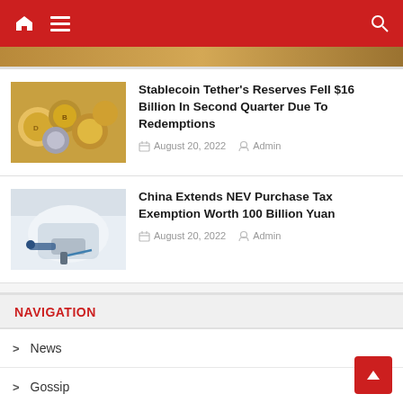Navigation bar with home, menu, and search icons
[Figure (photo): Partial top strip showing gold/crypto coins]
[Figure (photo): Cryptocurrency coins including Dogecoin and Bitcoin gold coins]
Stablecoin Tether's Reserves Fell $16 Billion In Second Quarter Due To Redemptions
August 20, 2022  Admin
[Figure (photo): Person charging an electric vehicle (EV)]
China Extends NEV Purchase Tax Exemption Worth 100 Billion Yuan
August 20, 2022  Admin
NAVIGATION
News
Gossip